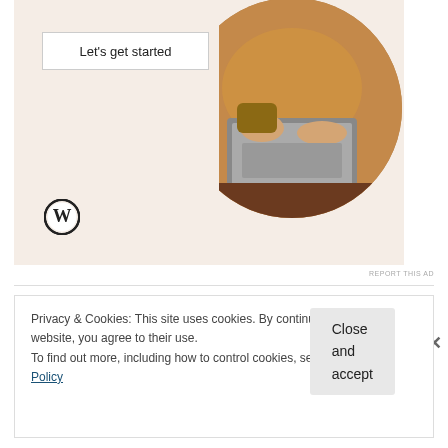[Figure (screenshot): WordPress advertisement banner showing 'Let's get started' button with a circular photo of a person using a laptop, on a beige background with WordPress logo]
REPORT THIS AD
Share this:
Facebook  Twitter  Reddit  Tumblr
Privacy & Cookies: This site uses cookies. By continuing to use this website, you agree to their use.
To find out more, including how to control cookies, see here: Cookie Policy
Close and accept